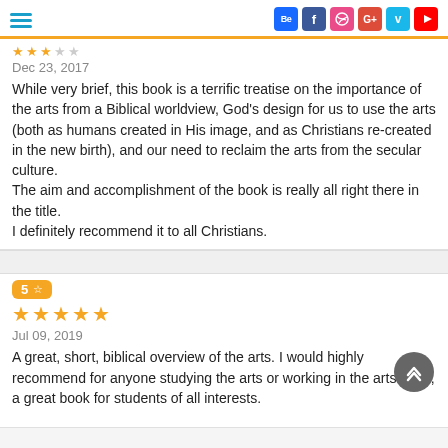Navigation header with social icons (Behance, Facebook, Dribbble, Google+, Vimeo, YouTube)
Dec 23, 2017
While very brief, this book is a terrific treatise on the importance of the arts from a Biblical worldview, God's design for us to use the arts (both as humans created in His image, and as Christians re-created in the new birth), and our need to reclaim the arts from the secular culture.
The aim and accomplishment of the book is really all right there in the title.
I definitely recommend it to all Christians.
5 ☆
Jul 09, 2019
A great, short, biblical overview of the arts. I would highly recommend for anyone studying the arts or working in the arts. Also, a great book for students of all interests.